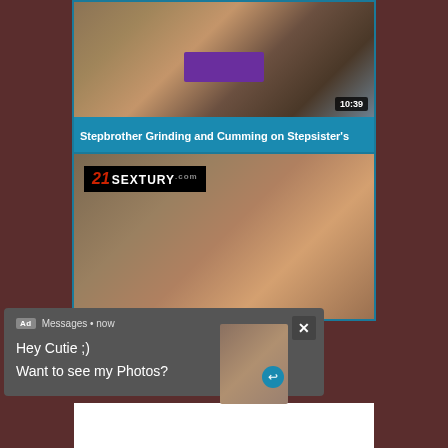[Figure (screenshot): Video thumbnail showing a person in gym/workout setting with purple clothing, duration badge showing 10:39]
Stepbrother Grinding and Cumming on Stepsister's
[Figure (screenshot): Video thumbnail with 21SEXTURY.COM banner overlay, showing tattooed person in gym setting]
[Figure (screenshot): Ad popup overlay: Messages notification with text 'Hey Cutie ;) Want to see my Photos?' and female avatar thumbnail with reply icon and X close button]